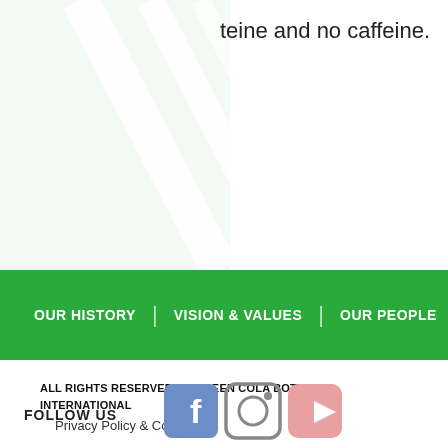teine and no caffeine.
[Figure (illustration): Light green decorative diagonal lines/shapes on left side of page]
OUR HISTORY | VISION & VALUES | OUR PEOPLE | CER
ALL RIGHTS RESERVED BY GREEN COLA BOTTLING INTERNATIONAL
Privacy Policy & Cookies
[Figure (infographic): FOLLOW US with Facebook, Instagram, and YouTube social media icons]